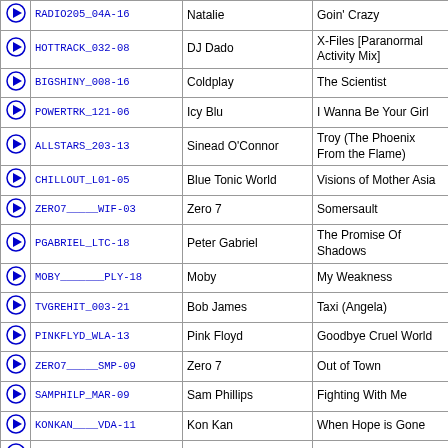|  | Code | Artist | Song |
| --- | --- | --- | --- |
| ▶ | RADIO205_04A-16 | Natalie | Goin' Crazy |
| ▶ | HOTTRACK_032-08 | DJ Dado | X-Files [Paranormal Activity Mix] |
| ▶ | BIGSHINY_008-16 | Coldplay | The Scientist |
| ▶ | POWERTRK_121-06 | Icy Blu | I Wanna Be Your Girl |
| ▶ | ALLSTARS_203-13 | Sinead O'Connor | Troy (The Phoenix From the Flame) |
| ▶ | CHILLOUT_L01-05 | Blue Tonic World | Visions of Mother Asia |
| ▶ | ZERO7_____WIF-03 | Zero 7 | Somersault |
| ▶ | PGABRIEL_LTC-18 | Peter Gabriel | The Promise Of Shadows |
| ▶ | MOBY_______PLY-18 | Moby | My Weakness |
| ▶ | TVGREHIT_003-21 | Bob James | Taxi (Angela) |
| ▶ | PINKFLYD_WLA-13 | Pink Floyd | Goodbye Cruel World |
| ▶ | ZERO7_____SMP-09 | Zero 7 | Out of Town |
| ▶ | SAMPHILP_MAR-09 | Sam Phillips | Fighting With Me |
| ▶ | KONKAN____VDA-11 | Kon Kan | When Hope is Gone |
| ▶ | HOTSTUFF_002-09 | David Gray | Please Forgive Me |
| ▶ | HALLSTAR_02B-07 | Boomtang | Habibi [Boomtang Mix] |
| ▶ | PUTUMAYO_NUL-03 | Federico Aubele | Postales |
| ▶ | CLPHANDS_STD-09 | Clap Your Hands Say Yeah | Blue Turning Gray |
| ▶ | BENHARPR_F4M-04 | Ben Harper | Please Me Like You Want To |
| ▶ | JACKJOHN_IBD-10 | Jack Johnson | If I Could |
| ▶ | PURECITY_001-04 | DJ Shadow | Midnight in a Perfect World |